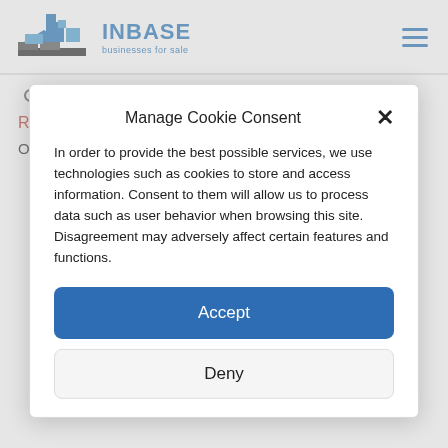[Figure (logo): INBASE businesses for sale logo with blue building icon]
regular annual income
Rentals
Offices:
Manage Cookie Consent
In order to provide the best possible services, we use technologies such as cookies to store and access information. Consent to them will allow us to process data such as user behavior when browsing this site. Disagreement may adversely affect certain features and functions.
Accept
Deny